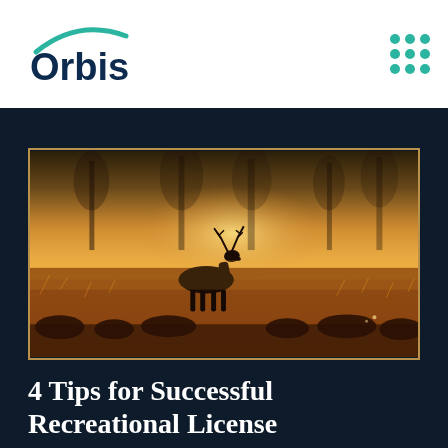[Figure (logo): Orbis company logo with teal arc above text]
[Figure (illustration): A stag deer standing in a misty golden field with trees in the foggy background]
4 Tips for Successful Recreational License Ma...